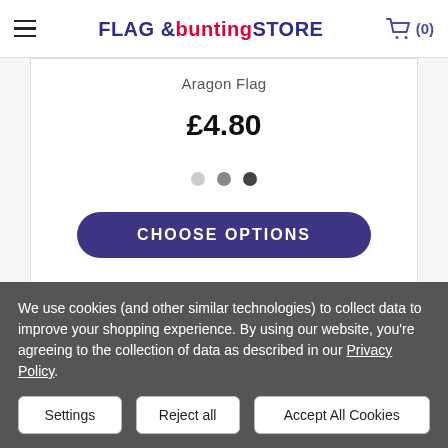FLAG & bunting STORE (0)
Aragon Flag
£4.80
[Figure (other): Three carousel indicator dots: light gray, medium gray, dark gray]
CHOOSE OPTIONS
We use cookies (and other similar technologies) to collect data to improve your shopping experience. By using our website, you're agreeing to the collection of data as described in our Privacy Policy.
Settings
Reject all
Accept All Cookies